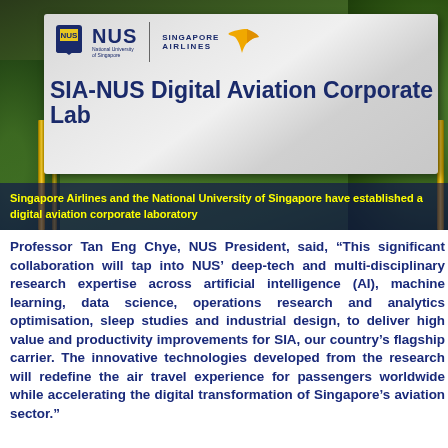[Figure (photo): Photo of the SIA-NUS Digital Aviation Corporate Lab sign mounted on a wall with green plants behind it. The sign shows NUS and Singapore Airlines logos at the top, and reads 'SIA-NUS Digital Aviation Corporate Lab' in large dark blue text on a metallic silver background. The sign is framed with gold-colored metallic borders. Green plants are visible in the background.]
Singapore Airlines and the National University of Singapore have established a digital aviation corporate laboratory
Professor Tan Eng Chye, NUS President, said, “This significant collaboration will tap into NUS’ deep-tech and multi-disciplinary research expertise across artificial intelligence (AI), machine learning, data science, operations research and analytics optimisation, sleep studies and industrial design, to deliver high value and productivity improvements for SIA, our country’s flagship carrier. The innovative technologies developed from the research will redefine the air travel experience for passengers worldwide while accelerating the digital transformation of Singapore’s aviation sector.”